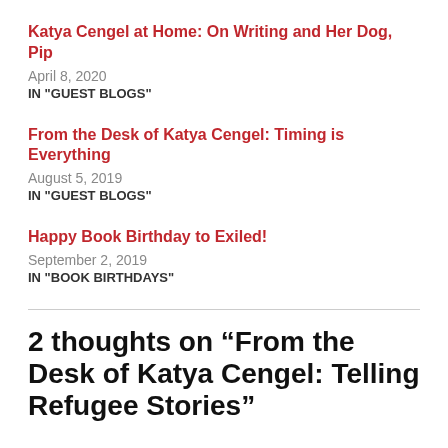Katya Cengel at Home: On Writing and Her Dog, Pip
April 8, 2020
IN "GUEST BLOGS"
From the Desk of Katya Cengel: Timing is Everything
August 5, 2019
IN "GUEST BLOGS"
Happy Book Birthday to Exiled!
September 2, 2019
IN "BOOK BIRTHDAYS"
2 thoughts on “From the Desk of Katya Cengel: Telling Refugee Stories”